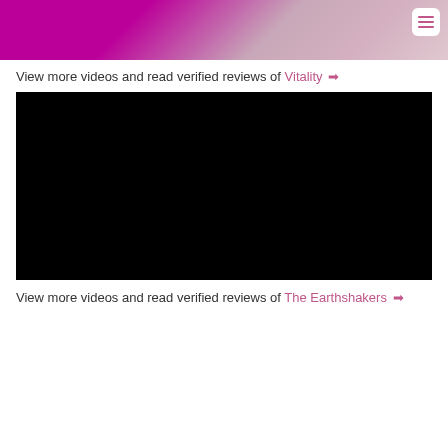[Figure (photo): Blurred photo with pink/purple tones, partially visible at the top of the page. A white rounded square menu button with three horizontal lines (hamburger icon) is visible in the top-right corner.]
View more videos and read verified reviews of Vitality ➡
[Figure (screenshot): Black rectangle representing a video player with no content loaded.]
View more videos and read verified reviews of The Earthshakers ➡